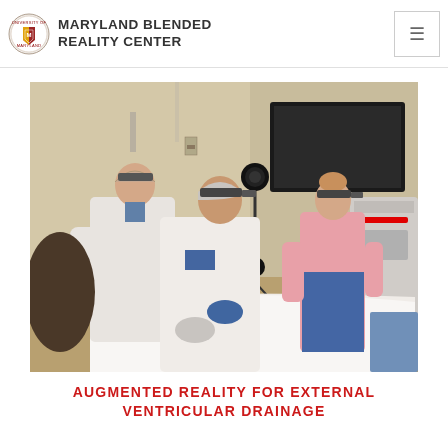MARYLAND BLENDED REALITY CENTER
[Figure (photo): Three medical professionals wearing augmented reality headsets (HoloLens) in a clinical setting around a table with white draping. Two are in white gowns with blue gloves and surgical caps, one in pink scrubs. Camera equipment on tripod in center of room.]
AUGMENTED REALITY FOR EXTERNAL VENTRICULAR DRAINAGE